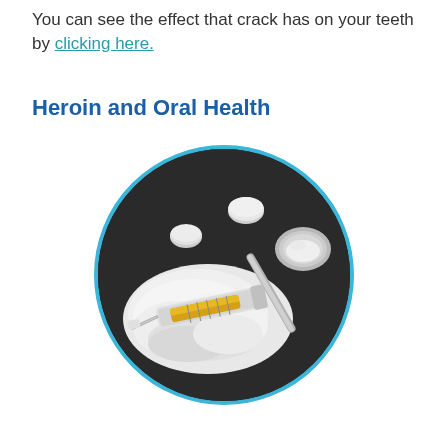You can see the effect that crack has on your teeth by clicking here.
Heroin and Oral Health
[Figure (photo): Circular photo showing white powder, pills, a syringe with yellow liquid, and a metal spoon on a dark background — depicting heroin drug paraphernalia.]